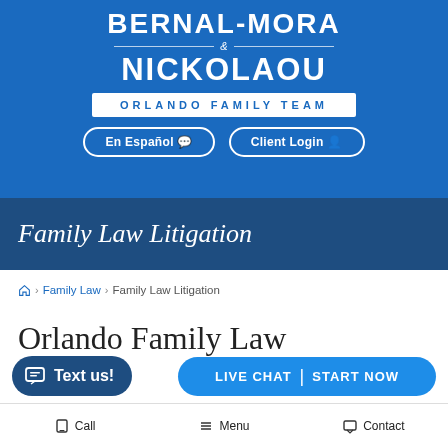[Figure (logo): Bernal-Mora & Nickolaou Orlando Family Team law firm logo on blue background with En Español and Client Login buttons]
Family Law Litigation
🏠 > Family Law > Family Law Litigation
Orlando Family Law
LIVE CHAT  START NOW
Text us!
📞 Call   ☰ Menu   🖥 Contact